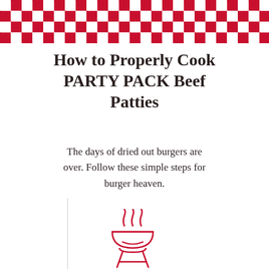[Figure (illustration): Red and white checkered pattern banner at the top of the page]
How to Properly Cook PARTY PACK Beef Patties
The days of dried out burgers are over. Follow these simple steps for burger heaven.
[Figure (illustration): Red outline icon of a BBQ grill with steam/heat lines rising above it]